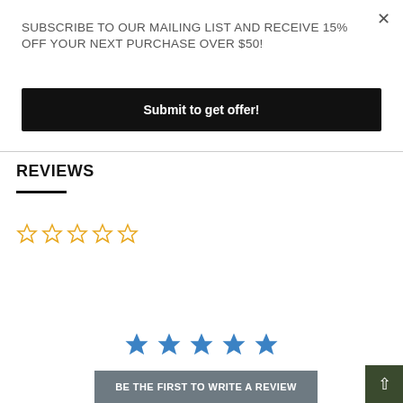×
SUBSCRIBE TO OUR MAILING LIST AND RECEIVE 15% OFF YOUR NEXT PURCHASE OVER $50!
Submit to get offer!
REVIEWS
[Figure (other): Five empty star rating icons in yellow/gold outline]
[Figure (other): Five filled blue star rating icons]
BE THE FIRST TO WRITE A REVIEW